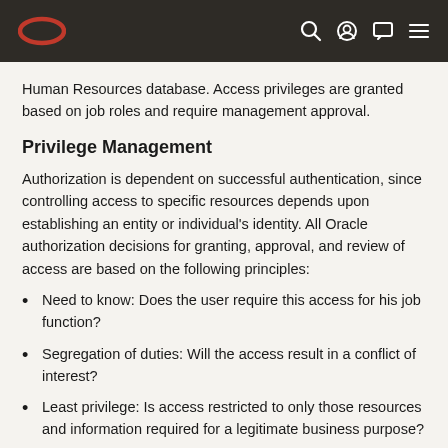Oracle logo and navigation icons
Human Resources database. Access privileges are granted based on job roles and require management approval.
Privilege Management
Authorization is dependent on successful authentication, since controlling access to specific resources depends upon establishing an entity or individual's identity. All Oracle authorization decisions for granting, approval, and review of access are based on the following principles:
Need to know: Does the user require this access for his job function?
Segregation of duties: Will the access result in a conflict of interest?
Least privilege: Is access restricted to only those resources and information required for a legitimate business purpose?